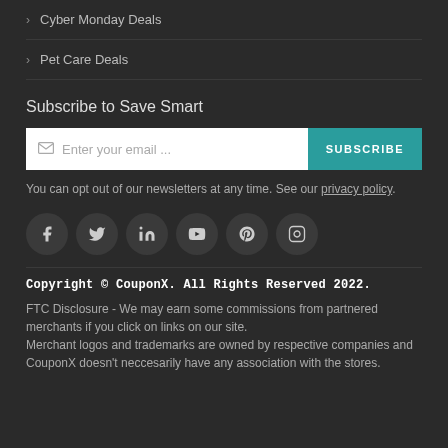Cyber Monday Deals
Pet Care Deals
Subscribe to Save Smart
Enter your email ...
You can opt out of our newsletters at any time. See our privacy policy.
[Figure (infographic): Row of 6 social media icon buttons: Facebook, Twitter, LinkedIn, YouTube, Pinterest, Instagram]
Copyright © CouponX. All Rights Reserved 2022.
FTC Disclosure - We may earn some commissions from partnered merchants if you click on links on our site. Merchant logos and trademarks are owned by respective companies and CouponX doesn't neccesarily have any association with the stores.